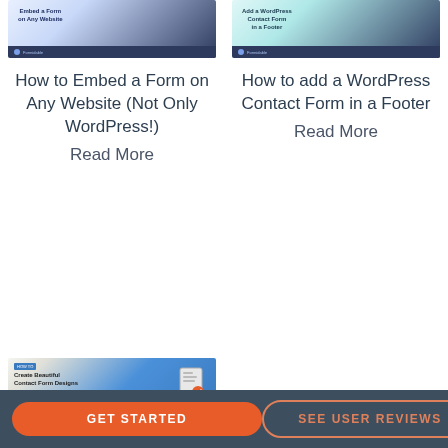[Figure (screenshot): Thumbnail image for 'Embed a Form on Any Website' showing dark blue background with computer illustration and Formidable Forms logo bar]
[Figure (screenshot): Thumbnail image for 'Add a WordPress Contact Form in a Footer' showing teal/light blue background with person illustration and Formidable Forms logo bar]
How to Embed a Form on Any Website (Not Only WordPress!)
Read More
How to add a WordPress Contact Form in a Footer
Read More
[Figure (screenshot): Thumbnail image for 'Create Beautiful Contact Form Designs' showing light background with blue diagonal and form icon]
GET STARTED
SEE USER REVIEWS